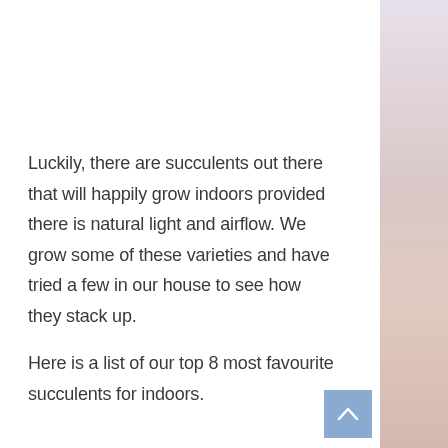Luckily, there are succulents out there that will happily grow indoors provided there is natural light and airflow. We grow some of these varieties and have tried a few in our house to see how they stack up.
Here is a list of our top 8 most favourite succulents for indoors.